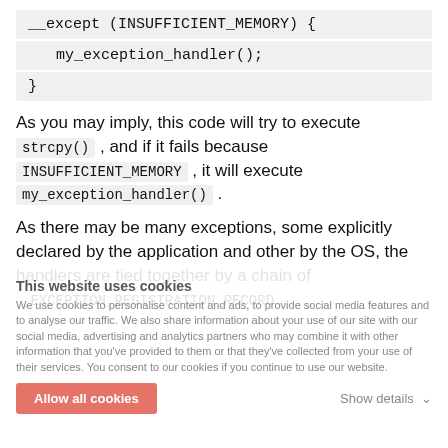__except (INSUFFICIENT_MEMORY) {
    my_exception_handler();
}
As you may imply, this code will try to execute strcpy() , and if it fails because INSUFFICIENT_MEMORY , it will execute my_exception_handler() .
As there may be many exceptions, some explicitly declared by the application and other by the OS, the handlers are tied together by a chain of _EXCEPTION_REGISTRATION_RECORD